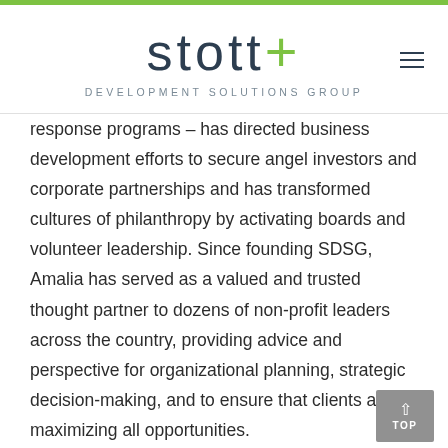[Figure (logo): Stott Development Solutions Group logo with green plus sign and grey text subtitle]
response programs – has directed business development efforts to secure angel investors and corporate partnerships and has transformed cultures of philanthropy by activating boards and volunteer leadership. Since founding SDSG, Amalia has served as a valued and trusted thought partner to dozens of non-profit leaders across the country, providing advice and perspective for organizational planning, strategic decision-making, and to ensure that clients are maximizing all opportunities.
Amalia is a graduate of the University of Wisconsin, Madison. After living in Washington, D.C. and San